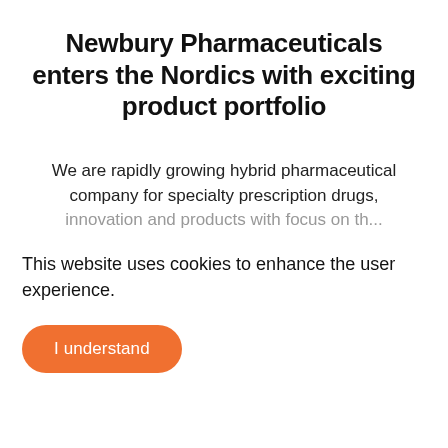Newbury Pharmaceuticals enters the Nordics with exciting product portfolio
We are rapidly growing hybrid pharmaceutical company for specialty prescription drugs, [innovation and products with focus on th...]
This website uses cookies to enhance the user experience.
I understand